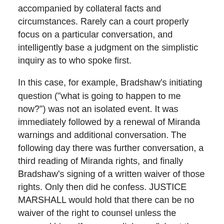accompanied by collateral facts and circumstances. Rarely can a court properly focus on a particular conversation, and intelligently base a judgment on the simplistic inquiry as to who spoke first.
In this case, for example, Bradshaw's initiating question ("what is going to happen to me now?") was not an isolated event. It was immediately followed by a renewal of Miranda warnings and additional conversation. The following day there was further conversation, a third reading of Miranda rights, and finally Bradshaw's signing of a written waiver of those rights. Only then did he confess. JUSTICE MARSHALL would hold that there can be no waiver of the right to counsel unless the accused himself opens a dialogue "about the subject matter of the criminal investigation." Post, at 1054; see also post, at 1053, 1055-1056. He states that "unless the accused himself initiates further communication [462 U.S. 1039, 1050]   with the police, a valid waiver of the